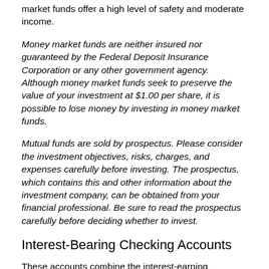market funds offer a high level of safety and moderate income.
Money market funds are neither insured nor guaranteed by the Federal Deposit Insurance Corporation or any other government agency. Although money market funds seek to preserve the value of your investment at $1.00 per share, it is possible to lose money by investing in money market funds.
Mutual funds are sold by prospectus. Please consider the investment objectives, risks, charges, and expenses carefully before investing. The prospectus, which contains this and other information about the investment company, can be obtained from your financial professional. Be sure to read the prospectus carefully before deciding whether to invest.
Interest-Bearing Checking Accounts
These accounts combine the interest-earning capability of a savings account with the check-writing convenience of a checking account. They are offered by banks, savings institutions,